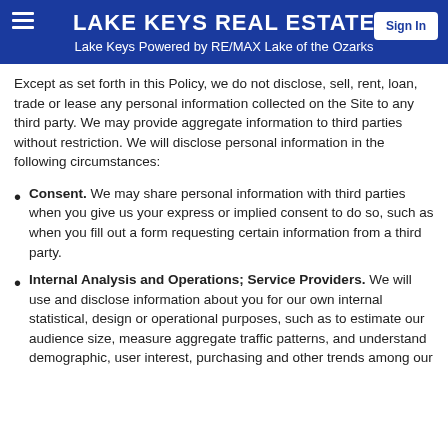LAKE KEYS REAL ESTATE
Lake Keys Powered by RE/MAX Lake of the Ozarks
Except as set forth in this Policy, we do not disclose, sell, rent, loan, trade or lease any personal information collected on the Site to any third party. We may provide aggregate information to third parties without restriction. We will disclose personal information in the following circumstances:
Consent. We may share personal information with third parties when you give us your express or implied consent to do so, such as when you fill out a form requesting certain information from a third party.
Internal Analysis and Operations; Service Providers. We will use and disclose information about you for our own internal statistical, design or operational purposes, such as to estimate our audience size, measure aggregate traffic patterns, and understand demographic, user interest, purchasing and other trends among our